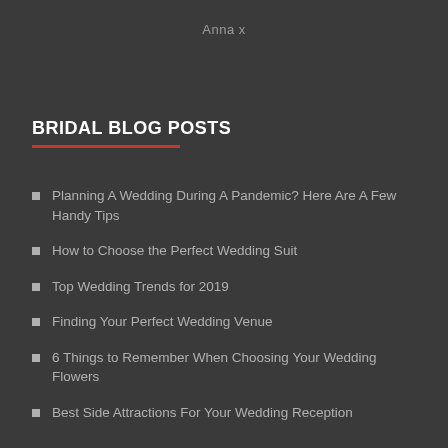Anna x
BRIDAL BLOG POSTS
Planning A Wedding During A Pandemic? Here Are A Few Handy Tips
How to Choose the Perfect Wedding Suit
Top Wedding Trends for 2019
Finding Your Perfect Wedding Venue
6 Things to Remember When Choosing Your Wedding Flowers
Best Side Attractions For Your Wedding Reception